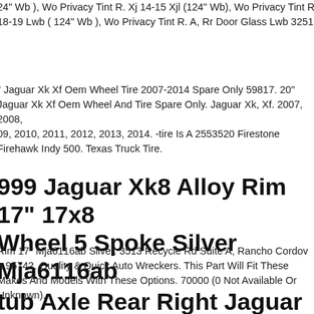24" Wb ), Wo Privacy Tint R. Xj 14-15 Xjl (124" Wb), Wo Privacy Tint R. 18-19 Lwb ( 124" Wb ), Wo Privacy Tint R. A, Rr Door Glass Lwb 3251
" Jaguar Xk Xf Oem Wheel Tire 2007-2014 Spare Only 59817. 20" Jaguar Xk Xf Oem Wheel And Tire Spare Only. Jaguar Xk, Xf. 2007, 2008, 09, 2010, 2011, 2012, 2013, 2014. -tire Is A 2553520 Firestone Firehawk Indy 500. Texas Truck Tire.
999 Jaguar Xk8 Alloy Rim 17" 17x8 Wheel 5 Spoke Silver Mja6116ab
Rim 17" Mja6116ab Silver. 3513 Recycle Rd Suite A, Rancho Cordova, Ca 95742. Quality & Quick Auto Wreckers. This Part Will Fit These Makes And Models With These Options. 70000 (0 Not Available Or Unknown).
tub Axle Rear Right Jaguar Xj X350